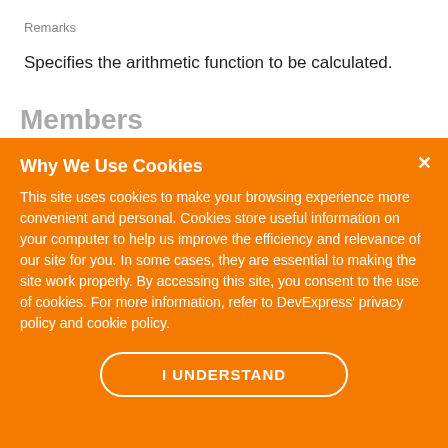Remarks
Specifies the arithmetic function to be calculated.
Namespace: DevExpress.XtraReports.UI
Assembly: DevExpress.XtraReports.v20.2.dll
[Figure (screenshot): Cookie consent overlay popup with orange background. Title: 'Why We Use Cookies'. Body text explains cookie usage policy. Button: 'I UNDERSTAND'. Close button (x) in top right.]
Members